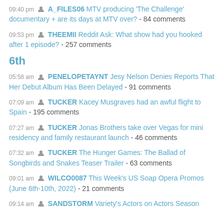09:40 pm A_FILES06 MTV producing 'The Challenge' documentary + are its days at MTV over? - 84 comments
09:53 pm THEEMII Reddit Ask: What show had you hooked after 1 episode? - 257 comments
6th
05:58 am PENELOPETAYNT Jesy Nelson Denies Reports That Her Debut Album Has Been Delayed - 91 comments
07:09 am TUCKER Kacey Musgraves had an awful flight to Spain - 195 comments
07:27 am TUCKER Jonas Brothers take over Vegas for mini residency and family restaurant launch - 46 comments
07:32 am TUCKER The Hunger Games: The Ballad of Songbirds and Snakes Teaser Trailer - 63 comments
09:01 am WILCO0087 This Week's US Soap Opera Promos (June 6th-10th, 2022) - 21 comments
09:14 am SANDSTORM Variety's Actors on Actors Season